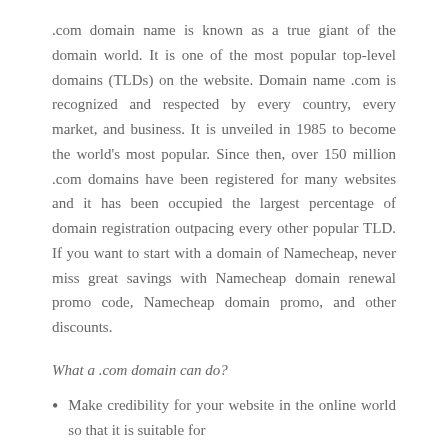.com domain name is known as a true giant of the domain world. It is one of the most popular top-level domains (TLDs) on the website. Domain name .com is recognized and respected by every country, every market, and business. It is unveiled in 1985 to become the world's most popular. Since then, over 150 million .com domains have been registered for many websites and it has been occupied the largest percentage of domain registration outpacing every other popular TLD. If you want to start with a domain of Namecheap, never miss great savings with Namecheap domain renewal promo code, Namecheap domain promo, and other discounts.
What a .com domain can do?
Make credibility for your website in the online world so that it is suitable for